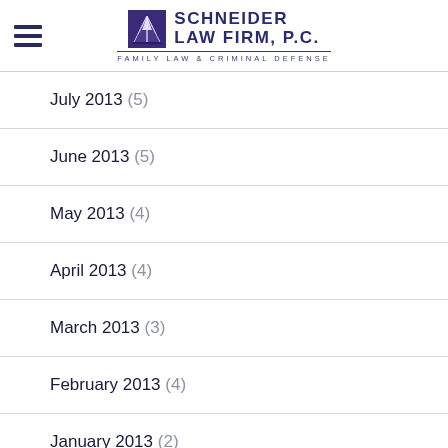Schneider Law Firm, P.C. — Family Law & Criminal Defense
July 2013 (5)
June 2013 (5)
May 2013 (4)
April 2013 (4)
March 2013 (3)
February 2013 (4)
January 2013 (2)
Categories